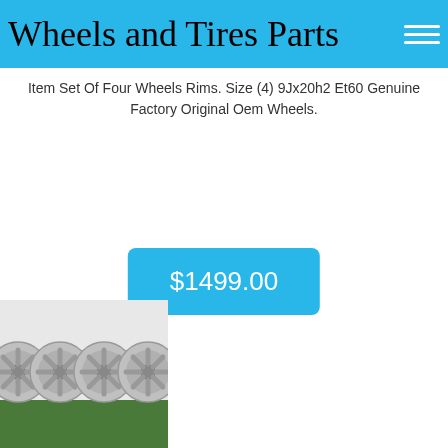Wheels and Tires Parts
Item Set Of Four Wheels Rims. Size (4) 9Jx20h2 Et60 Genuine Factory Original Oem Wheels.
$1499.00
[Figure (photo): Four silver star-spoke alloy wheel rims arranged in a row on a green surface against a light grey background]